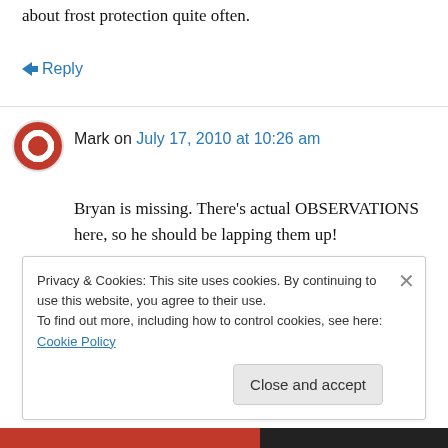about frost protection quite often.
↳ Reply
Mark on July 17, 2010 at 10:26 am
Bryan is missing. There's actual OBSERVATIONS here, so he should be lapping them up!
I would suggest that something from the observed spectral response of CO2 should be
Privacy & Cookies: This site uses cookies. By continuing to use this website, you agree to their use.
To find out more, including how to control cookies, see here: Cookie Policy
Close and accept